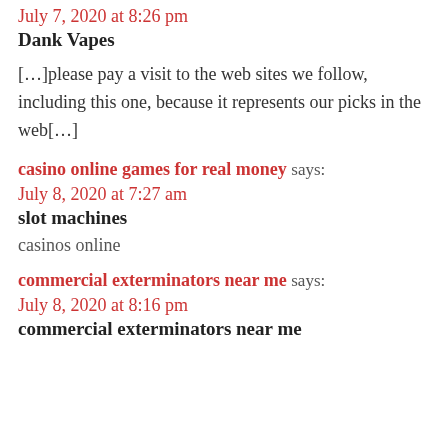July 7, 2020 at 8:26 pm
Dank Vapes
[…]please pay a visit to the web sites we follow, including this one, because it represents our picks in the web[…]
casino online games for real money says:
July 8, 2020 at 7:27 am
slot machines
casinos online
commercial exterminators near me says:
July 8, 2020 at 8:16 pm
commercial exterminators near me